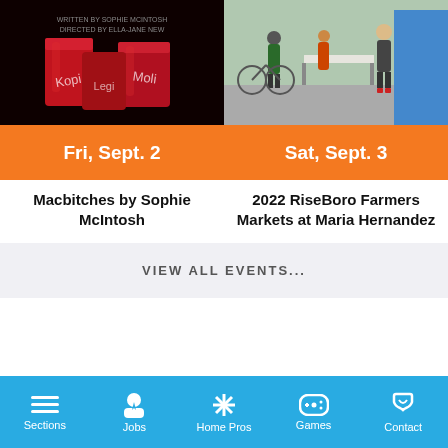[Figure (photo): Dark movie poster background with large red solo cups with writing on them]
Fri, Sept. 2
Macbitches by Sophie McIntosh
[Figure (photo): Outdoor farmers market scene with people around tables on a city street]
Sat, Sept. 3
2022 RiseBoro Farmers Markets at Maria Hernandez
VIEW ALL EVENTS...
Sections  Jobs  Home Pros  Games  Contact